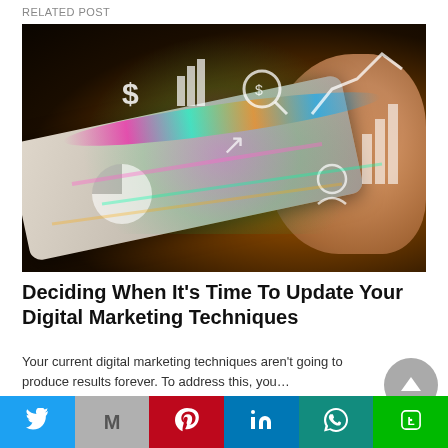RELATED POST
[Figure (photo): Hand touching a tablet device with glowing financial and marketing icons floating above it in colorful light]
Deciding When It’s Time To Update Your Digital Marketing Techniques
Your current digital marketing techniques aren’t going to produce results forever. To address this, you…
[Figure (other): Social media sharing bar with Twitter, Gmail, Pinterest, LinkedIn, WhatsApp, and Line buttons]